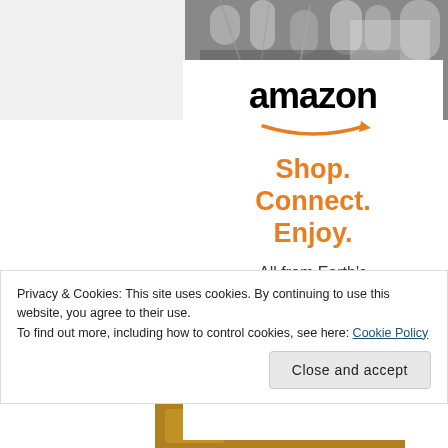[Figure (photo): Black and white photo of a crowd with raised hands, partially visible behind a white Amazon ad card]
[Figure (logo): Amazon advertisement card with logo, 'Shop. Connect. Enjoy.' tagline in orange, 'All from Earth's biggest selection' and 'Shop now' call to action]
Privacy & Cookies: This site uses cookies. By continuing to use this website, you agree to their use.
To find out more, including how to control cookies, see here: Cookie Policy
Close and accept